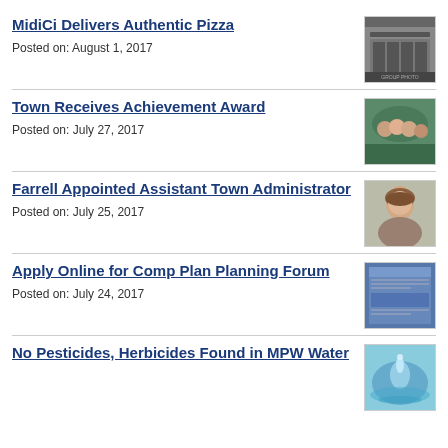MidiCi Delivers Authentic Pizza
Posted on: August 1, 2017
[Figure (photo): Group of people standing in front of a building]
Town Receives Achievement Award
Posted on: July 27, 2017
[Figure (photo): Group of people posing outdoors]
Farrell Appointed Assistant Town Administrator
Posted on: July 25, 2017
[Figure (photo): Headshot of a woman smiling]
Apply Online for Comp Plan Planning Forum
Posted on: July 24, 2017
[Figure (photo): Screenshot of a planning forum document]
No Pesticides, Herbicides Found in MPW Water
[Figure (photo): Water droplet splash photo]